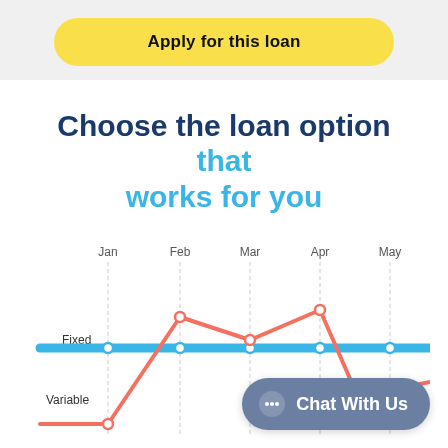Apply for this loan
Choose the loan option that works for you
[Figure (line-chart): ]
Chat With Us